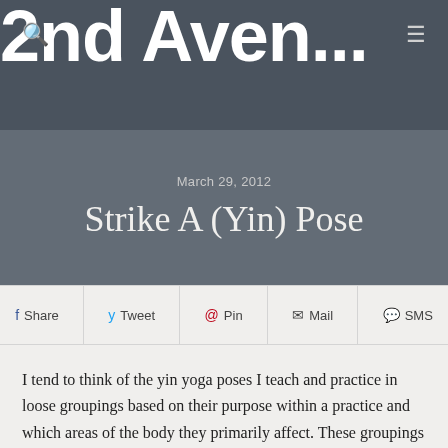2nd Aven...
March 29, 2012
Strike A (Yin) Pose
Share  Tweet  Pin  Mail  SMS
I tend to think of the yin yoga poses I teach and practice in loose groupings based on their purpose within a practice and which areas of the body they primarily affect. These groupings are not absolute and students all feel postures in different ways. A pose that one person feels very intensely in one area, someone else might not feel there at all.